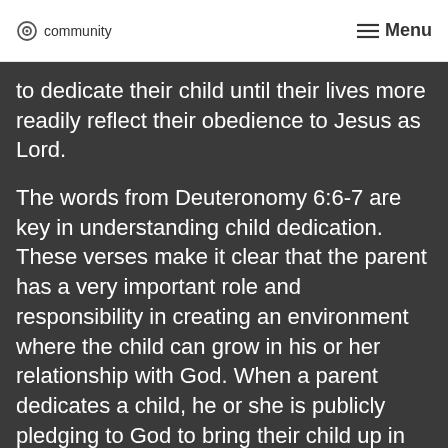community | Menu
to dedicate their child until their lives more readily reflect their obedience to Jesus as Lord.
The words from Deuteronomy 6:6-7 are key in understanding child dedication. These verses make it clear that the parent has a very important role and responsibility in creating an environment where the child can grow in his or her relationship with God. When a parent dedicates a child, he or she is publicly pledging to God to bring their child up in the nurture and instruction of the Lord.